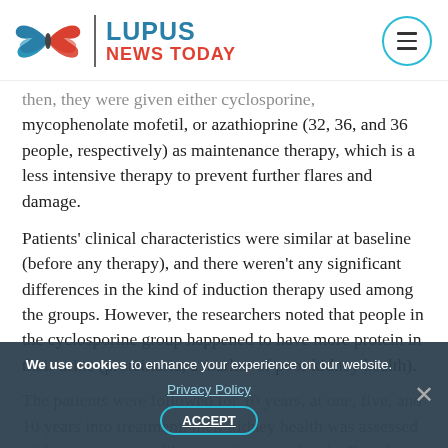Lupus News Today
then, they were given either cyclosporine, mycophenolate mofetil, or azathioprine (32, 36, and 36 people, respectively) as maintenance therapy, which is a less intensive therapy to prevent further flares and damage.
Patients' clinical characteristics were similar at baseline (before any therapy), and there weren't any significant differences in the kind of induction therapy used among the groups. However, the researchers noted that people in the cyclosporine group happened to have more protein in their urine (proteinuria, a marker of poor kidney health).
The patients were followed for 10 years, at one, five, and 10 years into treatment, their kidney health was assessed with measurements like assessing proteinuria. Based on these tests, the
We use cookies to enhance your experience on our website. Privacy Policy ACCEPT